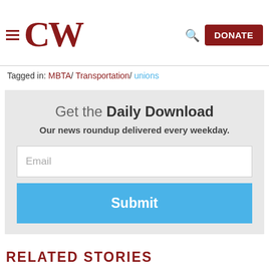CW | DONATE
Tagged in: MBTA/ Transportation/ unions
Get the Daily Download
Our news roundup delivered every weekday.
Email
Submit
RELATED STORIES